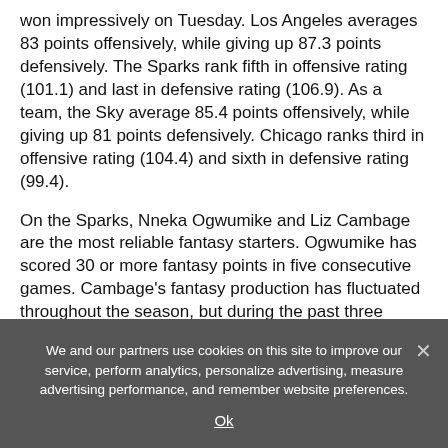won impressively on Tuesday. Los Angeles averages 83 points offensively, while giving up 87.3 points defensively. The Sparks rank fifth in offensive rating (101.1) and last in defensive rating (106.9). As a team, the Sky average 85.4 points offensively, while giving up 81 points defensively. Chicago ranks third in offensive rating (104.4) and sixth in defensive rating (99.4).
On the Sparks, Nneka Ogwumike and Liz Cambage are the most reliable fantasy starters. Ogwumike has scored 30 or more fantasy points in five consecutive games. Cambage's fantasy production has fluctuated throughout the season, but during the past three
We and our partners use cookies on this site to improve our service, perform analytics, personalize advertising, measure advertising performance, and remember website preferences.
Ok